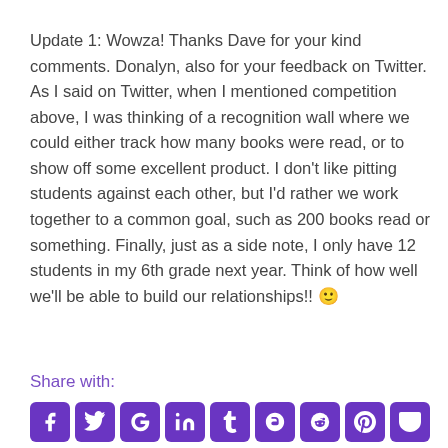Update 1: Wowza! Thanks Dave for your kind comments. Donalyn, also for your feedback on Twitter. As I said on Twitter, when I mentioned competition above, I was thinking of a recognition wall where we could either track how many books were read, or to show off some excellent product. I don't like pitting students against each other, but I'd rather we work together to a common goal, such as 200 books read or something. Finally, just as a side note, I only have 12 students in my 6th grade next year. Think of how well we'll be able to build our relationships!! 🙂
Share with: